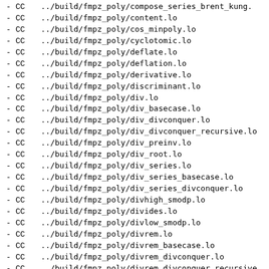- CC ../build/fmpz_poly/compose_series_brent_kung.lo
- CC ../build/fmpz_poly/content.lo
- CC ../build/fmpz_poly/cos_minpoly.lo
- CC ../build/fmpz_poly/cyclotomic.lo
- CC ../build/fmpz_poly/deflate.lo
- CC ../build/fmpz_poly/deflation.lo
- CC ../build/fmpz_poly/derivative.lo
- CC ../build/fmpz_poly/discriminant.lo
- CC ../build/fmpz_poly/div.lo
- CC ../build/fmpz_poly/div_basecase.lo
- CC ../build/fmpz_poly/div_divconquer.lo
- CC ../build/fmpz_poly/div_divconquer_recursive.lo
- CC ../build/fmpz_poly/div_preinv.lo
- CC ../build/fmpz_poly/div_root.lo
- CC ../build/fmpz_poly/div_series.lo
- CC ../build/fmpz_poly/div_series_basecase.lo
- CC ../build/fmpz_poly/div_series_divconquer.lo
- CC ../build/fmpz_poly/divhigh_smodp.lo
- CC ../build/fmpz_poly/divides.lo
- CC ../build/fmpz_poly/divlow_smodp.lo
- CC ../build/fmpz_poly/divrem.lo
- CC ../build/fmpz_poly/divrem_basecase.lo
- CC ../build/fmpz_poly/divrem_divconquer.lo
- CC ../build/fmpz_poly/divrem_divconquer_recursive.lo
- CC ../build/fmpz_poly/divrem_preinv.lo
- CC ../build/fmpz_poly/divremlow_divconquer_recurs.lo
- CC ../build/fmpz_poly/equal.lo
- CC ../build/fmpz_poly/equal_trunc.lo
- CC ../build/fmpz_poly/eta_qexp.lo
- CC ../build/fmpz_poly/eulerian_polynomial.lo